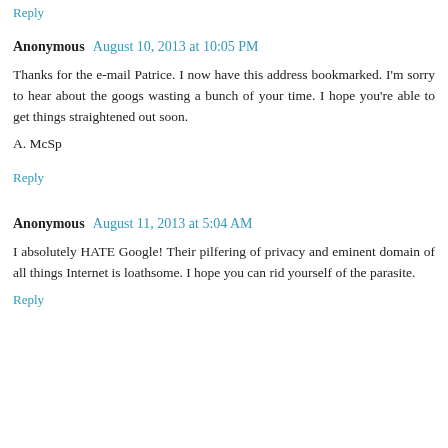Reply
Anonymous  August 10, 2013 at 10:05 PM
Thanks for the e-mail Patrice. I now have this address bookmarked. I'm sorry to hear about the googs wasting a bunch of your time. I hope you're able to get things straightened out soon.
A. McSp
Reply
Anonymous  August 11, 2013 at 5:04 AM
I absolutely HATE Google! Their pilfering of privacy and eminent domain of all things Internet is loathsome. I hope you can rid yourself of the parasite.
Reply